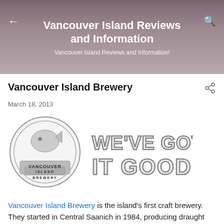Vancouver Island Reviews and Information
Vancouver Island Reviews and Information!
Vancouver Island Brewery
March 18, 2013
[Figure (logo): Vancouver Island Brewery logo (circular badge) alongside 'WE'VE GOT IT GOOD' collegiate-style text]
Vancouver Island Brewery is the island's first craft brewery. They started in Central Saanich in 1984, producing draught only products for pubs. In 1995 the demand had grown and they moved to 2330 Government St (where they currently are